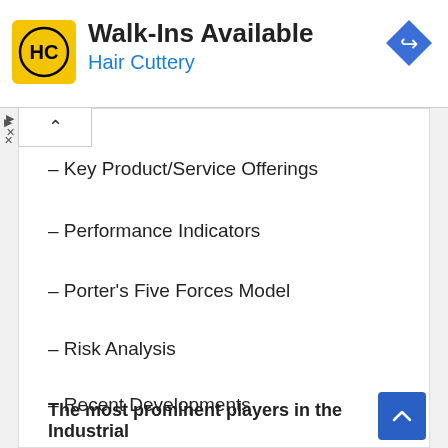[Figure (logo): Hair Cuttery advertisement banner with HC logo in yellow square, 'Walk-Ins Available' heading, 'Hair Cuttery' subtitle in blue, and a blue diamond navigation icon]
– Key Product/Service Offerings
– Performance Indicators
– Porter's Five Forces Model
– Risk Analysis
– Recent Developments
– Regional Presence
– SWOT Analysis
The most prominent players in the Industrial